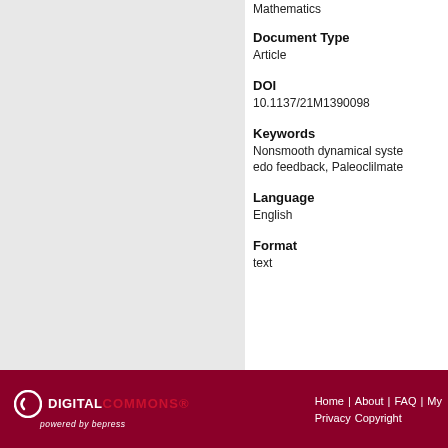Mathematics
Document Type
Article
DOI
10.1137/21M1390098
Keywords
Nonsmooth dynamical syste edo feedback, Paleoclilmate
Language
English
Format
text
DIGITALCOMMONS® powered by bepress | Home | About | FAQ | My | Privacy | Copyright